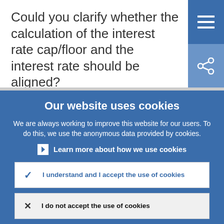Could you clarify whether the calculation of the interest rate cap/floor and the interest rate should be aligned?
Our website uses cookies
We are always working to improve this website for our users. To do this, we use the anonymous data provided by cookies.
Learn more about how we use cookies
I understand and I accept the use of cookies
I do not accept the use of cookies